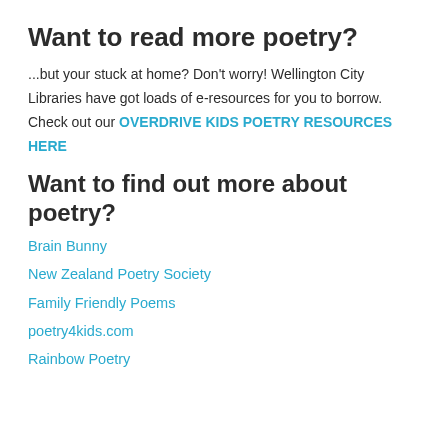Want to read more poetry?
...but your stuck at home? Don't worry! Wellington City Libraries have got loads of e-resources for you to borrow. Check out our OVERDRIVE KIDS POETRY RESOURCES HERE
Want to find out more about poetry?
Brain Bunny
New Zealand Poetry Society
Family Friendly Poems
poetry4kids.com
Rainbow Poetry